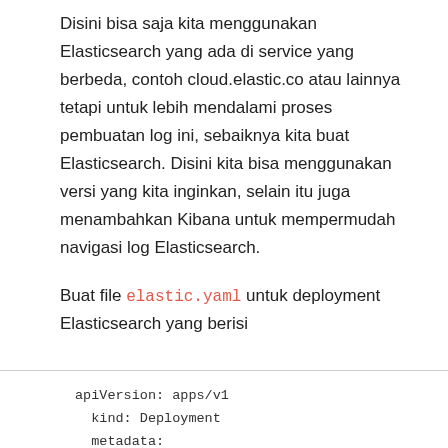Disini bisa saja kita menggunakan Elasticsearch yang ada di service yang berbeda, contoh cloud.elastic.co atau lainnya tetapi untuk lebih mendalami proses pembuatan log ini, sebaiknya kita buat Elasticsearch. Disini kita bisa menggunakan versi yang kita inginkan, selain itu juga menambahkan Kibana untuk mempermudah navigasi log Elasticsearch.
Buat file elastic.yaml untuk deployment Elasticsearch yang berisi
apiVersion: apps/v1
  kind: Deployment
  metadata:
    name: elasticsearch